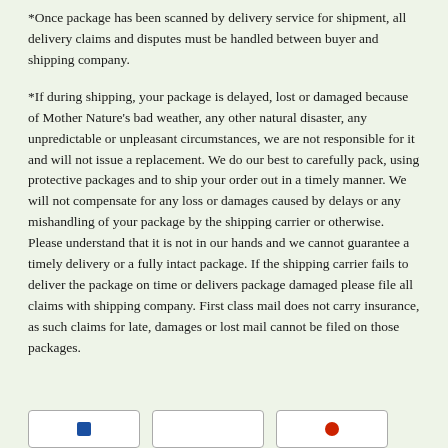*Once package has been scanned by delivery service for shipment, all delivery claims and disputes must be handled between buyer and shipping company.
*If during shipping, your package is delayed, lost or damaged because of Mother Nature’s bad weather, any other natural disaster, any unpredictable or unpleasant circumstances, we are not responsible for it and will not issue a replacement. We do our best to carefully pack, using protective packages and to ship your order out in a timely manner. We will not compensate for any loss or damages caused by delays or any mishandling of your package by the shipping carrier or otherwise. Please understand that it is not in our hands and we cannot guarantee a timely delivery or a fully intact package. If the shipping carrier fails to deliver the package on time or delivers package damaged please file all claims with shipping company. First class mail does not carry insurance, as such claims for late, damages or lost mail cannot be filed on those packages.
[Figure (other): Three payment/service logo cards at the bottom of the page — one with a blue rectangle icon, one blank white card, one with a red circle icon.]